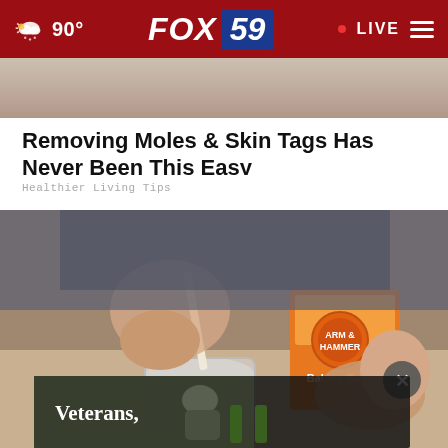90° FOX 59 • LIVE
[Figure (photo): Partial top image showing close-up of a hand or face, cropped]
Removing Moles & Skin Tags Has Never Been This Easy
Healthier Living Tips
[Figure (photo): Person stirring a jar with baking soda, holding an Arm & Hammer Baking Soda box, with an ad overlay showing 'Veterans,' at the bottom]
Veterans,